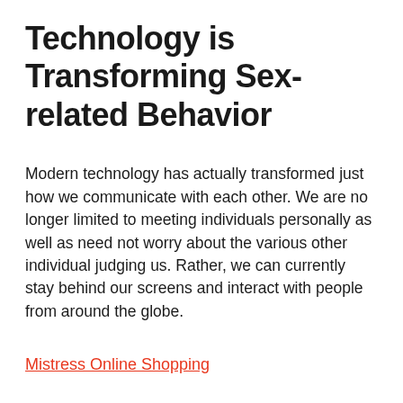Technology is Transforming Sex-related Behavior
Modern technology has actually transformed just how we communicate with each other. We are no longer limited to meeting individuals personally as well as need not worry about the various other individual judging us. Rather, we can currently stay behind our screens and interact with people from around the globe.
Mistress Online Shopping